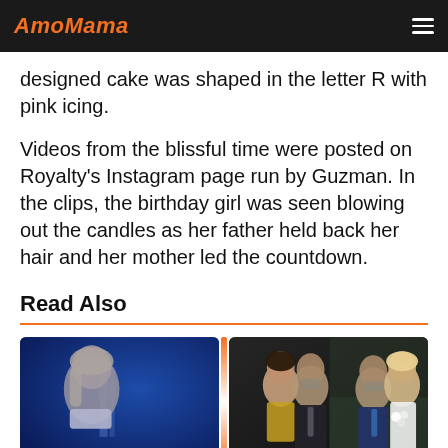AmoMama
designed cake was shaped in the letter R with pink icing.
Videos from the blissful time were posted on Royalty's Instagram page run by Guzman. In the clips, the birthday girl was seen blowing out the candles as her father held back her hair and her mother led the countdown.
Read Also
[Figure (photo): Thumbnail image of a blonde woman in a white turtleneck against a blue city night background]
[Figure (photo): Two-panel composite photo of a man with a beard posing with a young brunette woman in a gold dress at an event, and another image of the same man with a blonde woman in a white wedding dress]